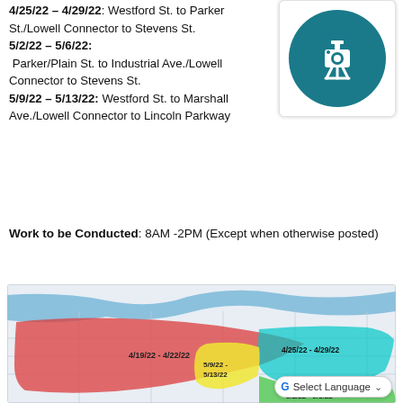4/25/22 – 4/29/22: Westford St. to Parker St./Lowell Connector to Stevens St.
5/2/22 – 5/6/22: Parker/Plain St. to Industrial Ave./Lowell Connector to Stevens St.
5/9/22 – 5/13/22: Westford St. to Marshall Ave./Lowell Connector to Lincoln Parkway
[Figure (illustration): Traffic camera / construction icon — teal circle with white camera on tripod icon, inside a white rounded box]
Work to be Conducted: 8AM -2PM (Except when otherwise posted)
[Figure (map): A street map showing colored zones for different date ranges: red zone labeled 4/19/22 - 4/22/22, cyan zone labeled 4/25/22 - 4/29/22, yellow zone labeled 5/9/22 - 5/13/22, green zone labeled 5/2/22 - 5/6/22. A blue river runs through the top portion.]